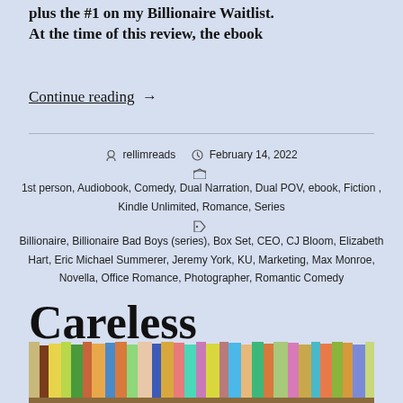plus the #1 on my Billionaire Waitlist. At the time of this review, the ebook
Continue reading  →
rellimreads   February 14, 2022   1st person, Audiobook, Comedy, Dual Narration, Dual POV, ebook, Fiction, Kindle Unlimited, Romance, Series   Billionaire, Billionaire Bad Boys (series), Box Set, CEO, CJ Bloom, Elizabeth Hart, Eric Michael Summerer, Jeremy York, KU, Marketing, Max Monroe, Novella, Office Romance, Photographer, Romantic Comedy
Careless Whispers
[Figure (photo): Bookshelf with colorful books]